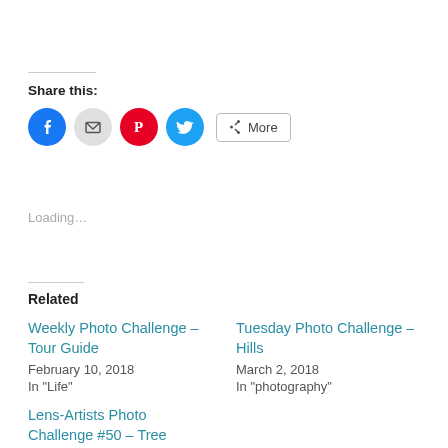Share this:
[Figure (other): Social share buttons: Facebook (blue circle), Email (grey circle), Pinterest (red circle), Twitter (cyan circle), and a More button]
Loading...
Related
Weekly Photo Challenge – Tour Guide
February 10, 2018
In "Life"
Tuesday Photo Challenge – Hills
March 2, 2018
In "photography"
Lens-Artists Photo Challenge #50 – Tree Stories